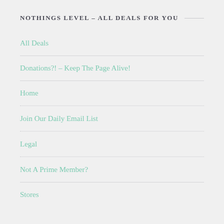NOTHINGS LEVEL – ALL DEALS FOR YOU
All Deals
Donations?! – Keep The Page Alive!
Home
Join Our Daily Email List
Legal
Not A Prime Member?
Stores